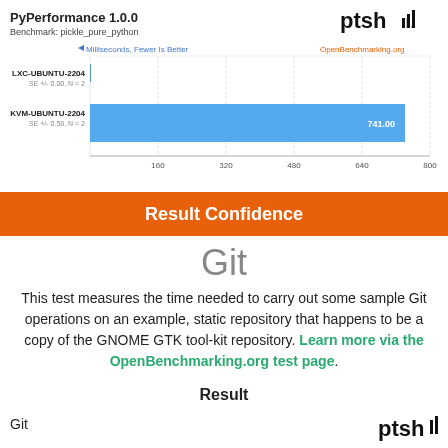[Figure (bar-chart): PyPerformance 1.0.0 - Benchmark: pickle_pure_python]
Result Confidence
Git
This test measures the time needed to carry out some sample Git operations on an example, static repository that happens to be a copy of the GNOME GTK tool-kit repository. Learn more via the OpenBenchmarking.org test page.
Result
Git